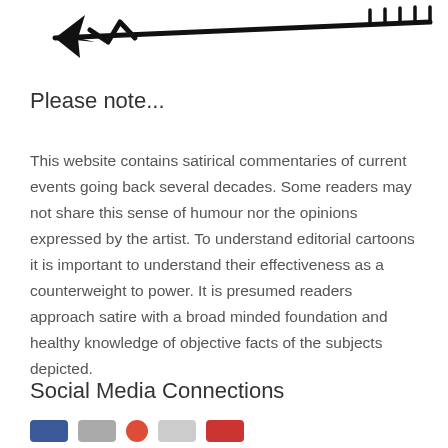[Figure (illustration): A decorative arrow pointing left, drawn in a bold hand-drawn style with feather/barb details at the right end and an arrowhead at the left.]
Please note...
This website contains satirical commentaries of current events going back several decades. Some readers may not share this sense of humour nor the opinions expressed by the artist. To understand editorial cartoons it is important to understand their effectiveness as a counterweight to power. It is presumed readers approach satire with a broad minded foundation and healthy knowledge of objective facts of the subjects depicted.
Social Media Connections
[Figure (illustration): Row of social media icon buttons: Facebook (blue rounded rectangle), Twitter/other (gray rounded rectangle), Google+ (red circle), LinkedIn/other (gray rounded rectangle), YouTube (red rounded rectangle).]